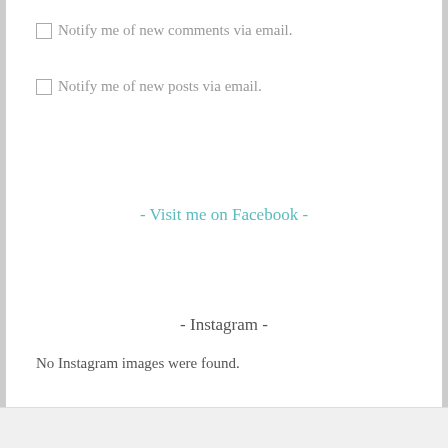Notify me of new comments via email.
Notify me of new posts via email.
- Visit me on Facebook -
- Instagram -
No Instagram images were found.